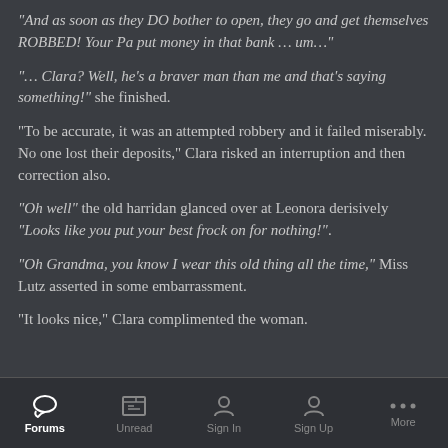“And as soon as they DO bother to open, they go and get themselves ROBBED! Your Pa put money in that bank … um…”
“… Clara? Well, he’s a braver man than me and that’s saying something!” she finished.
"To be accurate, it was an attempted robbery and it failed miserably. No one lost their deposits," Clara risked an interruption and then correction also.
“Oh well” the old harridan glanced over at Leonora derisively “Looks like you put your best frock on for nothing!”.
“Oh Grandma, you know I wear this old thing all the time,” Miss Lutz asserted in some embarrassment.
"It looks nice," Clara complimented the woman.
Forums  Unread  Sign In  Sign Up  More